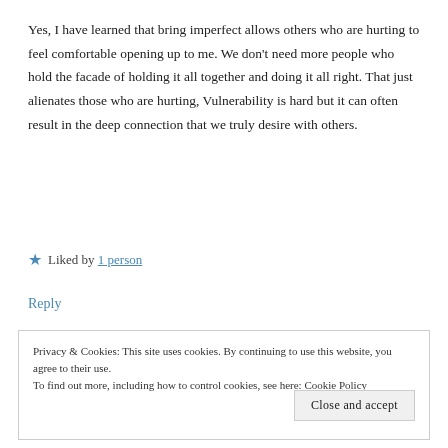Yes, I have learned that bring imperfect allows others who are hurting to feel comfortable opening up to me. We don't need more people who hold the facade of holding it all together and doing it all right. That just alienates those who are hurting, Vulnerability is hard but it can often result in the deep connection that we truly desire with others.
★ Liked by 1 person
Reply
Privacy & Cookies: This site uses cookies. By continuing to use this website, you agree to their use.
To find out more, including how to control cookies, see here: Cookie Policy
Close and accept